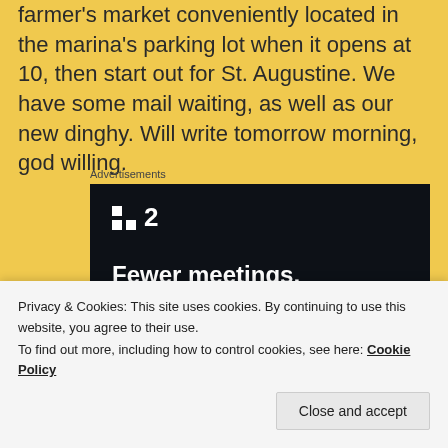farmer's market conveniently located in the marina's parking lot when it opens at 10, then start out for St. Augustine. We have some mail waiting, as well as our new dinghy. Will write tomorrow morning, god willing.
[Figure (screenshot): Advertisement banner with dark background showing a logo with two squares and the number 2, and headline text 'Fewer meetings, more work']
Privacy & Cookies: This site uses cookies. By continuing to use this website, you agree to their use.
To find out more, including how to control cookies, see here: Cookie Policy